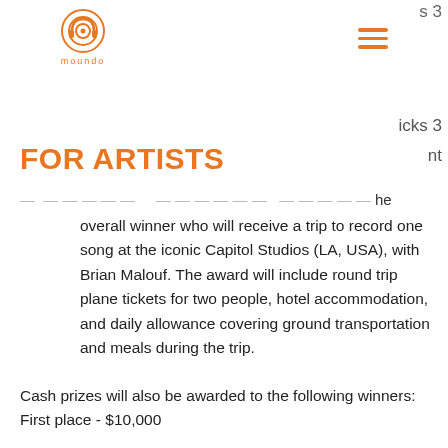s 3
[Figure (logo): Moundo circular logo with headphones icon and orange text 'moundo' below]
[Figure (infographic): Orange hamburger menu icon (three horizontal lines)]
FOR ARTISTS
icks 3
nt
... [partial text] ...the overall winner who will receive a trip to record one song at the iconic Capitol Studios (LA, USA), with Brian Malouf. The award will include round trip plane tickets for two people, hotel accommodation, and daily allowance covering ground transportation and meals during the trip.
Cash prizes will also be awarded to the following winners:
First place - $10,000